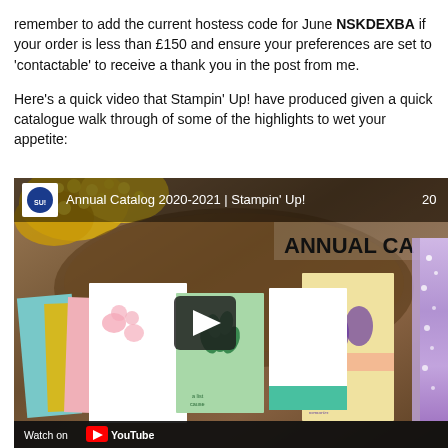remember to add the current hostess code for June NSKDEXBA if your order is less than £150 and ensure your preferences are set to 'contactable' to receive a thank you in the post from me.

Here's a quick video that Stampin' Up! have produced given a quick catalogue walk through of some of the highlights to wet your appetite:
[Figure (screenshot): YouTube video thumbnail for 'Annual Catalog 2020-2021 | Stampin' Up!' showing crafting cards with floral designs on a wooden background with yellow flowers, with a play button overlay. Bottom shows 'Watch on YouTube' bar.]